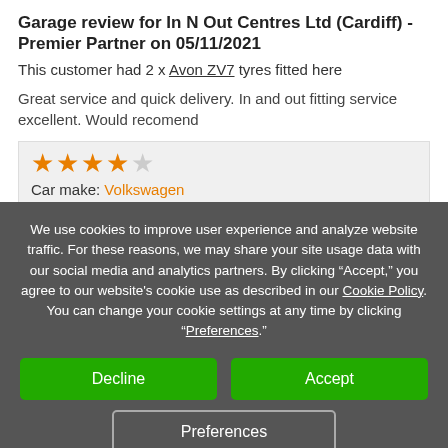Garage review for In N Out Centres Ltd (Cardiff) - Premier Partner on 05/11/2021
This customer had 2 x Avon ZV7 tyres fitted here
Great service and quick delivery. In and out fitting service excellent. Would recomend
[Figure (other): 4 out of 5 star rating shown with orange filled stars and one grey empty star]
Car make: Volkswagen
We use cookies to improve user experience and analyze website traffic. For these reasons, we may share your site usage data with our social media and analytics partners. By clicking “Accept,” you agree to our website's cookie use as described in our Cookie Policy. You can change your cookie settings at any time by clicking “Preferences.”
Decline
Accept
Preferences